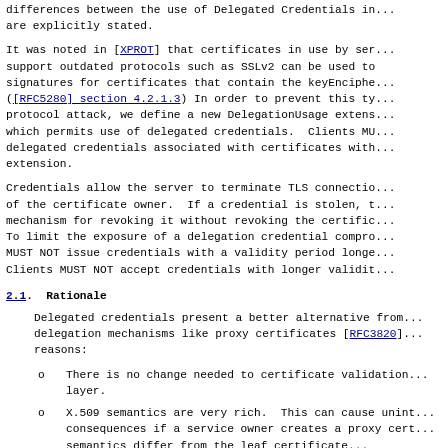differences between the use of Delegated Credentials in... are explicitly stated.
It was noted in [XPROT] that certificates in use by servers that support outdated protocols such as SSLv2 can be used to... signatures for certificates that contain the keyEncipherment... ([RFC5280] section 4.2.1.3) In order to prevent this type of protocol attack, we define a new DelegationUsage extension which permits use of delegated credentials. Clients MUST NOT use delegated credentials associated with certificates without this extension.
Credentials allow the server to terminate TLS connections on behalf of the certificate owner. If a credential is stolen, there is no mechanism for revoking it without revoking the certificate itself. To limit the exposure of a delegation credential compromise, servers MUST NOT issue credentials with a validity period longer than 7 days. Clients MUST NOT accept credentials with longer validity periods.
2.1. Rationale
Delegated credentials present a better alternative from other delegation mechanisms like proxy certificates [RFC3820] for the following reasons:
There is no change needed to certificate validation at the TLS layer.
X.509 semantics are very rich. This can cause unintended consequences if a service owner creates a proxy certificate whose semantics differ from the leaf certificate.